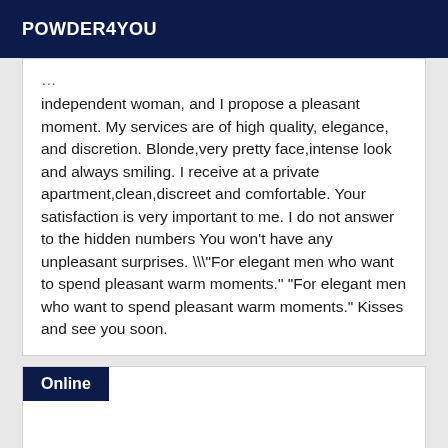POWDER4YOU
independent woman, and I propose a pleasant moment. My services are of high quality, elegance, and discretion. Blonde,very pretty face,intense look and always smiling. I receive at a private apartment,clean,discreet and comfortable. Your satisfaction is very important to me. I do not answer to the hidden numbers You won't have any unpleasant surprises. \"For elegant men who want to spend pleasant warm moments." "For elegant men who want to spend pleasant warm moments." Kisses and see you soon.
Online